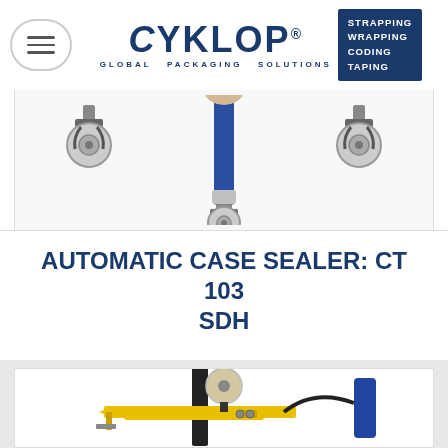Cyklop Global Packaging Solutions — STRAPPING WRAPPING CODING TAPING
[Figure (photo): Bottom portion of CT 103 SDH automatic case sealer showing caster wheels and lower machine frame]
AUTOMATIC CASE SEALER: CT 103 SDH
[Figure (photo): CT 103 SDH automatic case sealer machine showing tape head assembly, yellow frame arms, and tape roll]